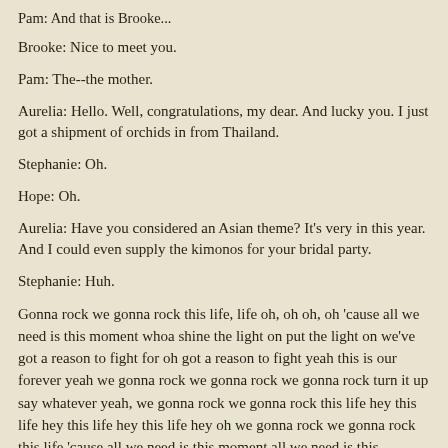Pam: And that is Brooke...
Brooke: Nice to meet you.
Pam: The--the mother.
Aurelia: Hello. Well, congratulations, my dear. And lucky you. I just got a shipment of orchids in from Thailand.
Stephanie: Oh.
Hope: Oh.
Aurelia: Have you considered an Asian theme? It's very in this year. And I could even supply the kimonos for your bridal party.
Stephanie: Huh.
Gonna rock we gonna rock this life, life oh, oh oh, oh 'cause all we need is this moment whoa shine the light on put the light on we've got a reason to fight for oh got a reason to fight yeah this is our forever yeah we gonna rock we gonna rock we gonna rock turn it up say whatever yeah, we gonna rock we gonna rock this life hey this life hey this life hey this life hey oh we gonna rock we gonna rock this life 'cause all we need is this moment all we need is this moment all we need is this moment moment we gonna rock we gonna rock this life guys. I've figured it out!